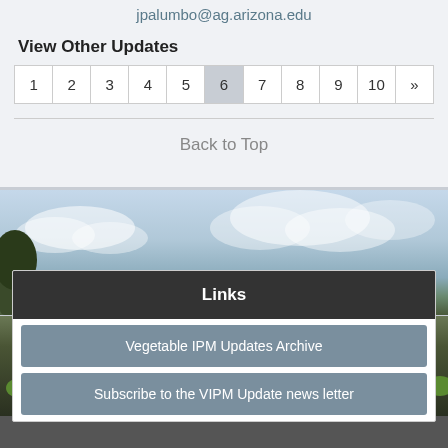jpalumbo@ag.arizona.edu
View Other Updates
| 1 | 2 | 3 | 4 | 5 | 6 | 7 | 8 | 9 | 10 | » |
| --- | --- | --- | --- | --- | --- | --- | --- | --- | --- | --- |
Back to Top
[Figure (photo): Sky with clouds background image]
Links
Vegetable IPM Updates Archive
Subscribe to the VIPM Update news letter
[Figure (photo): Farmland with green crops and tractor tracks]